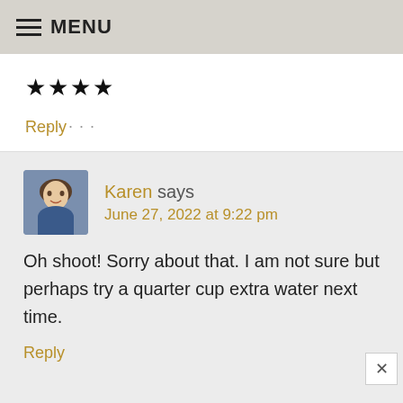MENU
★★★★
Reply
Karen says
June 27, 2022 at 9:22 pm
Oh shoot! Sorry about that. I am not sure but perhaps try a quarter cup extra water next time.
Reply